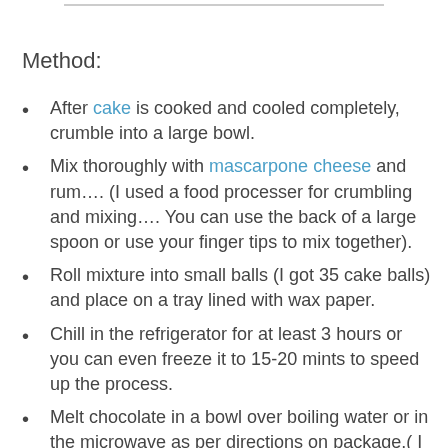Method:
After cake is cooked and cooled completely, crumble into a large bowl.
Mix thoroughly with mascarpone cheese and rum…. (I used a food processer for crumbling and mixing…. You can use the back of a large spoon or use your finger tips to mix together).
Roll mixture into small balls (I got 35 cake balls) and place on a tray lined with wax paper.
Chill in the refrigerator for at least 3 hours or you can even freeze it to 15-20 mints to speed up the process.
Melt chocolate in a bowl over boiling water or in the microwave as per directions on package.( I used baby bottle warmer to melt chocolate ~ grate the chocolate and put in to a clean dry glass and keep the glass in the bottle warmer